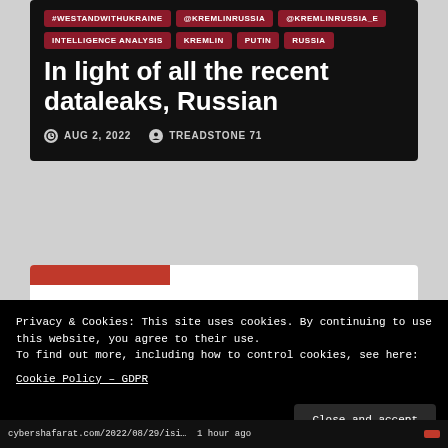#WESTANDWITHUKRAINE
@KREMLINRUSSIA
@KREMLINRUSSIA_E
INTELLIGENCE ANALYSIS
KREMLIN
PUTIN
RUSSIA
In light of all the recent dataleaks, Russian
AUG 2, 2022   TREADSTONE 71
Privacy & Cookies: This site uses cookies. By continuing to use this website, you agree to their use.
To find out more, including how to control cookies, see here:
Cookie Policy – GDPR
Close and accept
cybershafarat.com/2022/08/29/isi…  1 hour ago